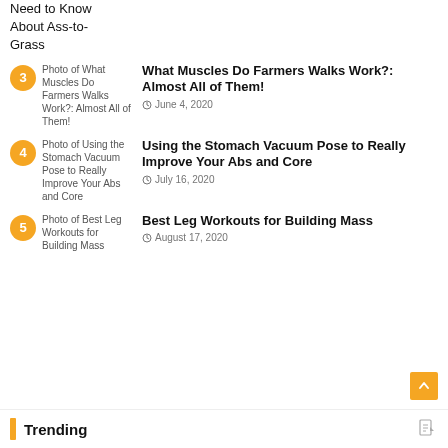Need to Know About Ass-to-Grass
3 - What Muscles Do Farmers Walks Work?: Almost All of Them! — June 4, 2020
4 - Using the Stomach Vacuum Pose to Really Improve Your Abs and Core — July 16, 2020
5 - Best Leg Workouts for Building Mass — August 17, 2020
Trending